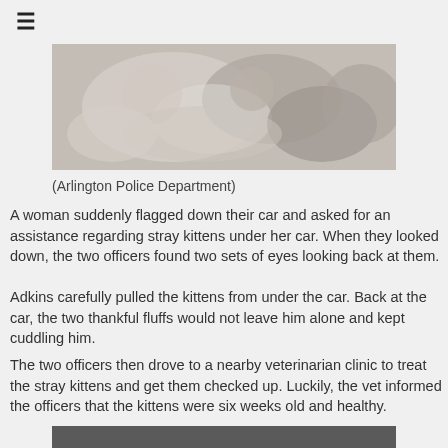≡
[Figure (photo): Photo of kittens huddled together, attributed to Arlington Police Department]
(Arlington Police Department)
A woman suddenly flagged down their car and asked for an assistance regarding stray kittens under her car. When they looked down, the two officers found two sets of eyes looking back at them.
Adkins carefully pulled the kittens from under the car. Back at the car, the two thankful fluffs would not leave him alone and kept cuddling him.
The two officers then drove to a nearby veterinarian clinic to treat the stray kittens and get them checked up. Luckily, the vet informed the officers that the kittens were six weeks old and healthy.
[Figure (photo): Bottom partial photo, dark background]